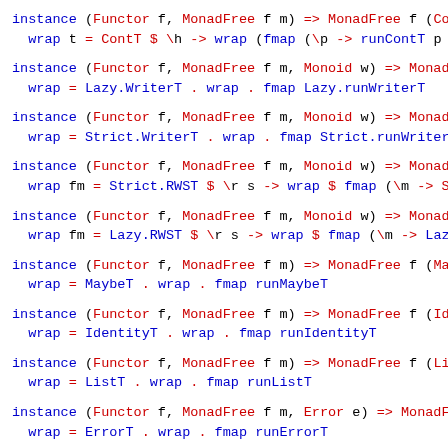instance (Functor f, MonadFree f m) => MonadFree f (ContT ...
  wrap t = ContT $ \h -> wrap (fmap (\p -> runContT p h)
instance (Functor f, MonadFree f m, Monoid w) => MonadFre...
  wrap = Lazy.WriterT . wrap . fmap Lazy.runWriterT
instance (Functor f, MonadFree f m, Monoid w) => MonadFre...
  wrap = Strict.WriterT . wrap . fmap Strict.runWriterT
instance (Functor f, MonadFree f m, Monoid w) => MonadFre...
  wrap fm = Strict.RWST $ \r s -> wrap $ fmap (\m -> Stri
instance (Functor f, MonadFree f m, Monoid w) => MonadFre...
  wrap fm = Lazy.RWST $ \r s -> wrap $ fmap (\m -> Lazy.R
instance (Functor f, MonadFree f m) => MonadFree f (Maybe...
  wrap = MaybeT . wrap . fmap runMaybeT
instance (Functor f, MonadFree f m) => MonadFree f (Ident...
  wrap = IdentityT . wrap . fmap runIdentityT
instance (Functor f, MonadFree f m) => MonadFree f (ListT...
  wrap = ListT . wrap . fmap runListT
instance (Functor f, MonadFree f m, Error e) => MonadFree...
  wrap = ErrorT . wrap . fmap runErrorT
-- instance (Functor f, MonadFree f m) => MonadFree f (Ei...
--   wrap = EitherT . wrap . fmap runEitherT